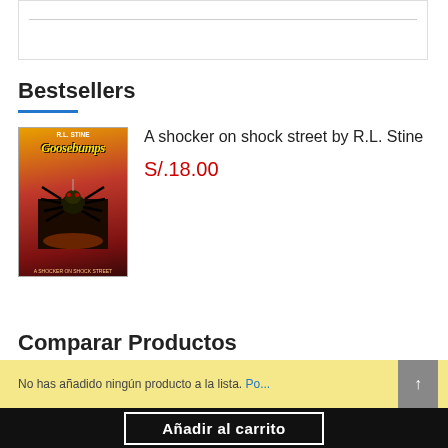Bestsellers
[Figure (illustration): Book cover of Goosebumps: A Shocker on Shock Street by R.L. Stine, showing a spider on a red/orange background]
A shocker on shock street by R.L. Stine
S/.18.00
Comparar Productos
↑
Añadir al carrito